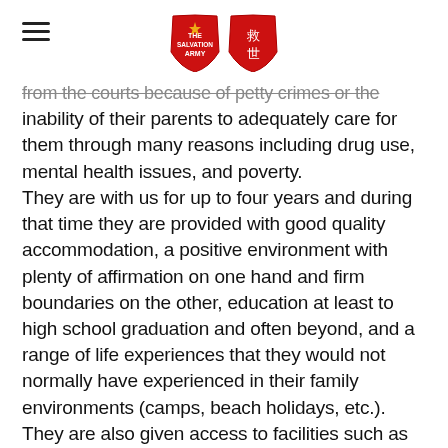[Salvation Army logo — two red shields]
from the courts because of petty crimes or the inability of their parents to adequately care for them through many reasons including drug use, mental health issues, and poverty. They are with us for up to four years and during that time they are provided with good quality accommodation, a positive environment with plenty of affirmation on one hand and firm boundaries on the other, education at least to high school graduation and often beyond, and a range of life experiences that they would not normally have experienced in their family environments (camps, beach holidays, etc.). They are also given access to facilities such as computers for social networking and homework, etc., and work experience with local employers. Some of the boys are established in local